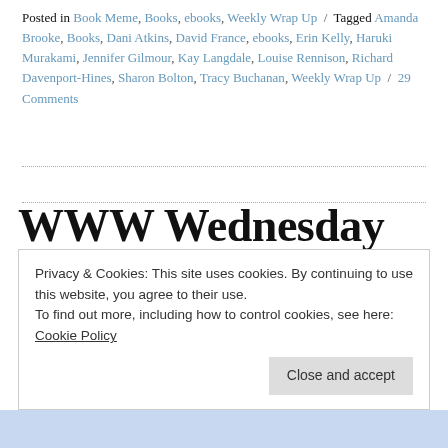Posted in Book Meme, Books, ebooks, Weekly Wrap Up / Tagged Amanda Brooke, Books, Dani Atkins, David France, ebooks, Erin Kelly, Haruki Murakami, Jennifer Gilmour, Kay Langdale, Louise Rennison, Richard Davenport-Hines, Sharon Bolton, Tracy Buchanan, Weekly Wrap Up / 29 Comments
WWW Wednesday (19 April) What are you reading today?
Privacy & Cookies: This site uses cookies. By continuing to use this website, you agree to their use.
To find out more, including how to control cookies, see here:
Cookie Policy
Close and accept